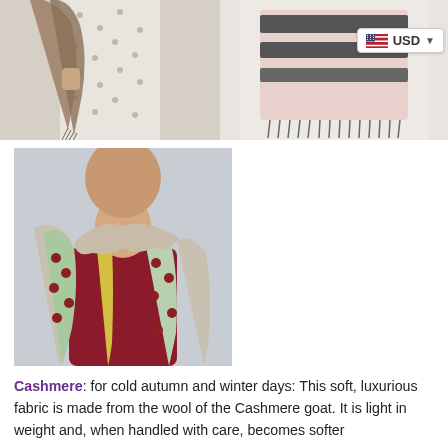[Figure (photo): Left: Person wearing a brown/tan cashmere scarf draped over dotted trousers with fringe at the bottom. Right: Close-up of a pink and charcoal striped scarf with metallic fringe, with a USD currency selector badge in top right corner.]
[Figure (photo): Person wearing a colorful patterned scarf with strawberry/polka dot motifs in green, red, yellow, and beige tones, wrapped loosely around neck, wearing a dark red top.]
Cashmere: for cold autumn and winter days: This soft, luxurious fabric is made from the wool of the Cashmere goat. It is light in weight and, when handled with care, becomes softer